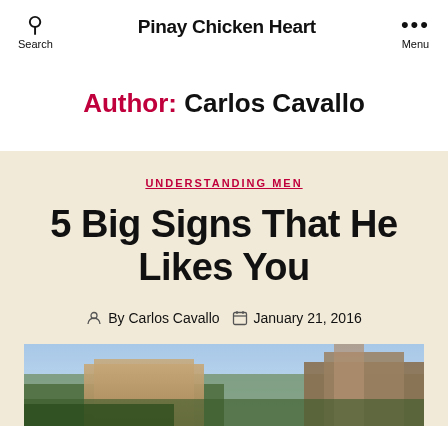Search | Pinay Chicken Heart | Menu
Author: Carlos Cavallo
UNDERSTANDING MEN
5 Big Signs That He Likes You
By Carlos Cavallo   January 21, 2016
[Figure (photo): Exterior photo of a large historic building or cathedral with trees in the foreground]